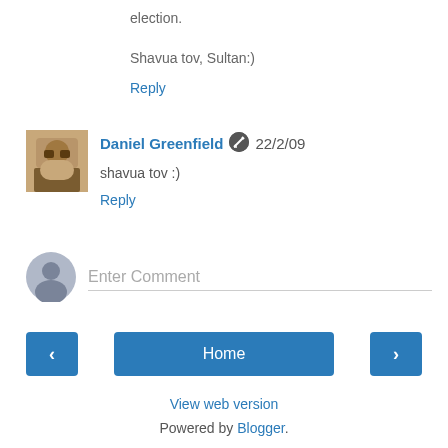election.
Shavua tov, Sultan:)
Reply
Daniel Greenfield 22/2/09
shavua tov :)
Reply
[Figure (other): Anonymous user avatar placeholder icon (grey silhouette)]
Enter Comment
Home
View web version
Powered by Blogger.